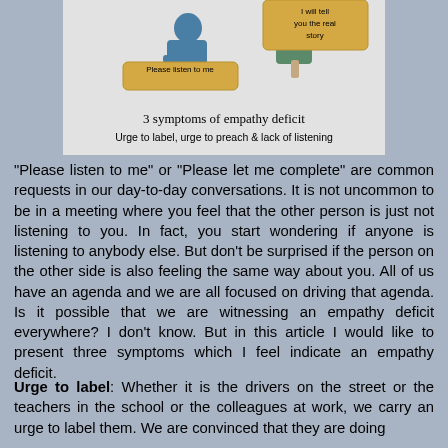[Figure (illustration): Illustration showing two people in a conversation with speech bubbles. One bubble says 'Please listen to me' and another says 'I will tell you the real story'. Below the illustration is text: '3 symptoms of empathy deficit' and 'Urge to label, urge to preach & lack of listening'.]
“Please listen to me” or “Please let me complete” are common requests in our day-to-day conversations. It is not uncommon to be in a meeting where you feel that the other person is just not listening to you. In fact, you start wondering if anyone is listening to anybody else. But don’t be surprised if the person on the other side is also feeling the same way about you. All of us have an agenda and we are all focused on driving that agenda. Is it possible that we are witnessing an empathy deficit everywhere? I don’t know. But in this article I would like to present three symptoms which I feel indicate an empathy deficit.
Urge to label: Whether it is the drivers on the street or the teachers in the school or the colleagues at work, we carry an urge to label them. We are convinced that they are doing